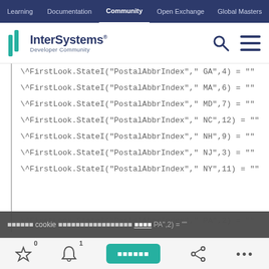Learning | Documentation | Community | Open Exchange | Global Masters | Certification
[Figure (logo): InterSystems Developer Community logo with search and menu icons]
\^FirstLook.StateI("PostalAbbrIndex"," GA",4) = ""
\^FirstLook.StateI("PostalAbbrIndex"," MA",6) = ""
\^FirstLook.StateI("PostalAbbrIndex"," MD",7) = ""
\^FirstLook.StateI("PostalAbbrIndex"," NC",12) = ""
\^FirstLook.StateI("PostalAbbrIndex"," NH",9) = ""
\^FirstLook.StateI("PostalAbbrIndex"," NJ",3) = ""
\^FirstLook.StateI("PostalAbbrIndex"," NY",11) = ""
\^FirstLook.StateI("PostalAbbrIndex"," PA",2) = ""
cookie [cookie consent text] ยอมรับ